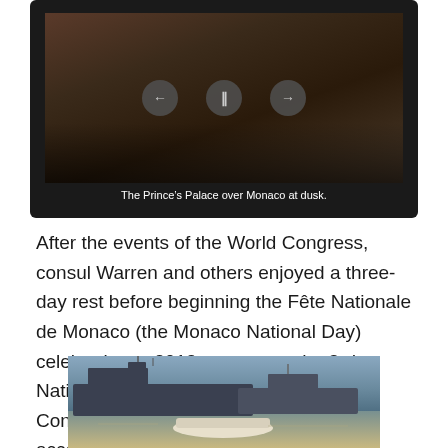[Figure (photo): Video player showing The Prince's Palace over Monaco at dusk, with playback controls (back, pause, forward buttons) visible]
The Prince's Palace over Monaco at dusk.
After the events of the World Congress, consul Warren and others enjoyed a three-day rest before beginning the Fête Nationale de Monaco (the Monaco National Day) celebrations.  2012 represents the 3rd National Day celebrations attended by Consul Warren, who was once again accompanied by the Honorable Paulina Biggs Sparkuhl, Honorary Consul of Chile in Las Vegas.
[Figure (photo): Naval ships docked in a harbor, likely in Monaco during National Day celebrations]